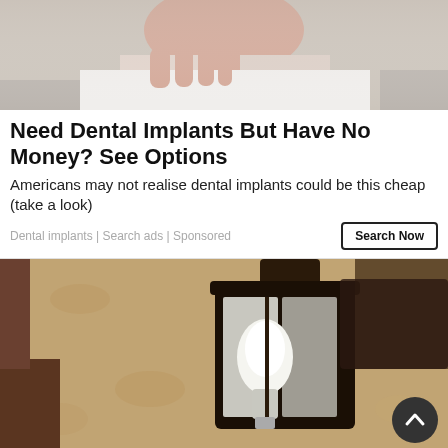[Figure (photo): Photo of a person's hands and face, likely related to dental/medical context, cropped at top]
Need Dental Implants But Have No Money? See Options
Americans may not realise dental implants could be this cheap (take a look)
Dental implants | Search ads | Sponsored
[Figure (photo): Photo of a vintage outdoor wall lantern/light fixture mounted on a textured stucco wall]
[Figure (logo): Oak Bay Pharmasave advertisement banner: 'For Everything You & Your Family Need to Live Well — EARN POINTS & SAVE!' with Rewards card image]